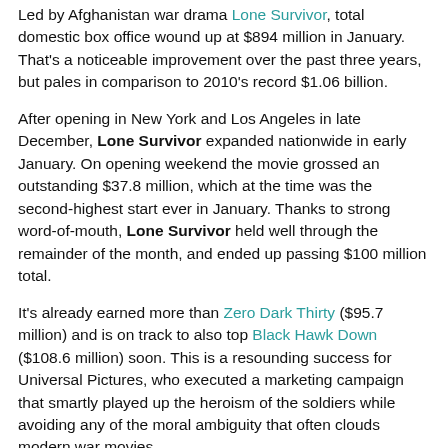Led by Afghanistan war drama Lone Survivor, total domestic box office wound up at $894 million in January. That's a noticeable improvement over the past three years, but pales in comparison to 2010's record $1.06 billion.
After opening in New York and Los Angeles in late December, Lone Survivor expanded nationwide in early January. On opening weekend the movie grossed an outstanding $37.8 million, which at the time was the second-highest start ever in January. Thanks to strong word-of-mouth, Lone Survivor held well through the remainder of the month, and ended up passing $100 million total.
It's already earned more than Zero Dark Thirty ($95.7 million) and is on track to also top Black Hawk Down ($108.6 million) soon. This is a resounding success for Universal Pictures, who executed a marketing campaign that smartly played up the heroism of the soldiers while avoiding any of the moral ambiguity that often clouds modern war movies.
Frozen continued to be the go-to choice for families through January. The Disney Animation musical, which opened over